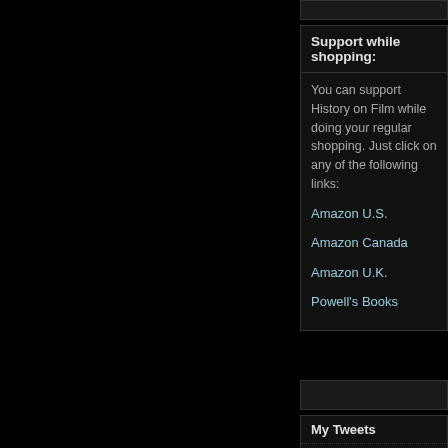Support while shopping:
You can support History on Film while doing your regular shopping. Just click on any of the following links:
Amazon U.S.
Amazon Canada
Amazon U.K.
Powell's Books
My Tweets
Follow me on Twitter